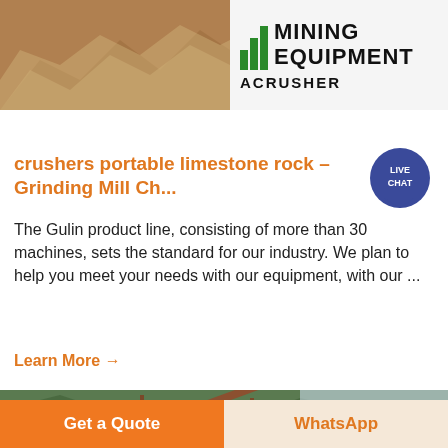[Figure (photo): Mining equipment image showing rocky terrain on the left and a sign reading MINING EQUIPMENT ACRUSHER on the right with green diagonal bars logo]
crushers portable limestone rock – Grinding Mill Ch...
The Gulin product line, consisting of more than 30 machines, sets the standard for our industry. We plan to help you meet your needs with our equipment, with our ...
Learn More →
[Figure (photo): Large orange/rust-colored mining crushing and conveyor equipment with mountains and green trees in background]
Get a Quote
WhatsApp